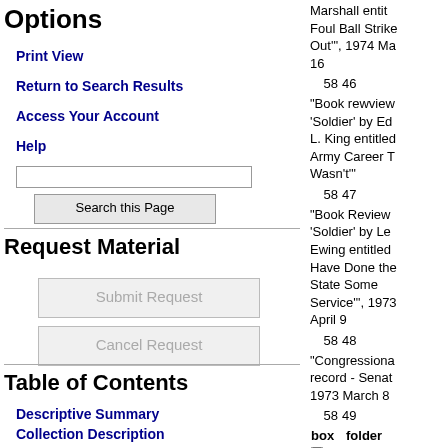Options
Print View
Return to Search Results
Access Your Account
Help
Request Material
Table of Contents
Descriptive Summary
Collection Description
Administrative Information
Marshall entit... Foul Ball Strike Out'", 1974 Ma... 16
| box | folder |
| --- | --- |
| 58 | 46 |
| 58 | 47 |
| 58 | 48 |
| 58 | 49 |
"Book rewview 'Soldier' by Ed... L. King entitled Army Career T... Wasn't'"
"Book Review 'Soldier' by Le... Ewing entitled Have Done the State Some Service'", 1973... April 9
"Congressiona... record - Senat... 1973 March 8
Request box
"Herbert v. Lan... et al: '60 minut... Outtakes, 'The Selling of Colo... Herbert M...